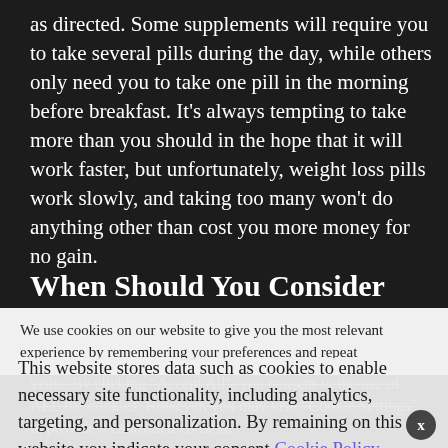as directed. Some supplements will require you to take several pills during the day, while others only need you to take one pill in the morning before breakfast. It’s always tempting to take more than you should in the hope that it will work faster, but unfortunately, weight loss pills work slowly, and taking too many won’t do anything other than cost you more money for no gain.
When Should You Consider
We use cookies on our website to give you the most relevant experience by remembering your preferences and repeat visits. By clicking “Accept All”, you consent to the use of ALL the cookies. However, you may visit “Cookie Settings” to provide a controlled consent.
This website stores data such as cookies to enable necessary site functionality, including analytics, targeting, and personalization. By remaining on this website you indicate your consent Cookie Policy